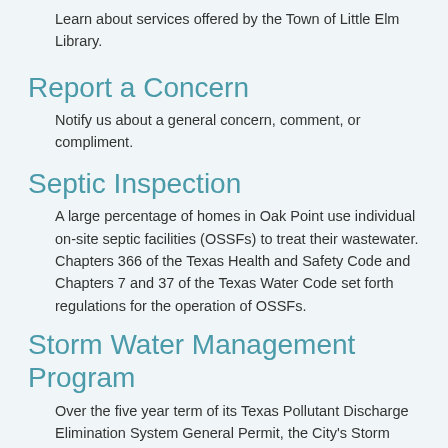Learn about services offered by the Town of Little Elm Library.
Report a Concern
Notify us about a general concern, comment, or compliment.
Septic Inspection
A large percentage of homes in Oak Point use individual on-site septic facilities (OSSFs) to treat their wastewater. Chapters 366 of the Texas Health and Safety Code and Chapters 7 and 37 of the Texas Water Code set forth regulations for the operation of OSSFs.
Storm Water Management Program
Over the five year term of its Texas Pollutant Discharge Elimination System General Permit, the City's Storm Water Management Program aims to control several measures.
Trash & Recycling